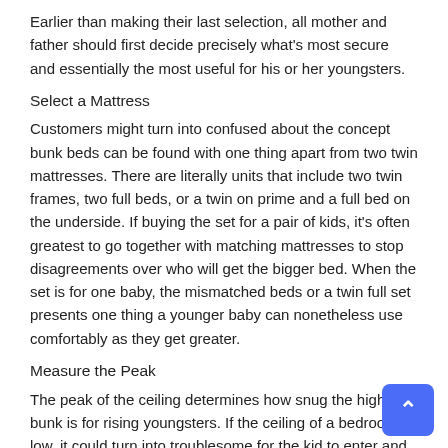Earlier than making their last selection, all mother and father should first decide precisely what's most secure and essentially the most useful for his or her youngsters.
Select a Mattress
Customers might turn into confused about the concept bunk beds can be found with one thing apart from two twin mattresses. There are literally units that include two twin frames, two full beds, or a twin on prime and a full bed on the underside. If buying the set for a pair of kids, it's often greatest to go together with matching mattresses to stop disagreements over who will get the bigger bed. When the set is for one baby, the mismatched beds or a twin full set presents one thing a younger baby can nonetheless use comfortably as they get greater.
Measure the Peak
The peak of the ceiling determines how snug the highest bunk is for rising youngsters. If the ceiling of a bedroom is low, it could turn into troublesome for the kid to enter and exit with out bumping their